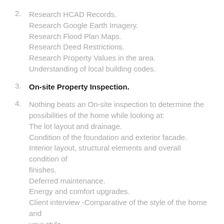2. Research HCAD Records. Research Google Earth Imagery. Research Flood Plan Maps. Research Deed Restrictions. Research Property Values in the area. Understanding of local building codes.
3. On-site Property Inspection.
4. Nothing beats an On-site inspection to determine the possibilities of the home while looking at: The lot layout and drainage. Condition of the foundation and exterior facade. Interior layout, structural elements and overall condition of finishes. Deferred maintenance. Energy and comfort upgrades. Client interview -Comparative of the style of the home and your style.
5.
6. Property Assessment
7. Review of the properties limitations.